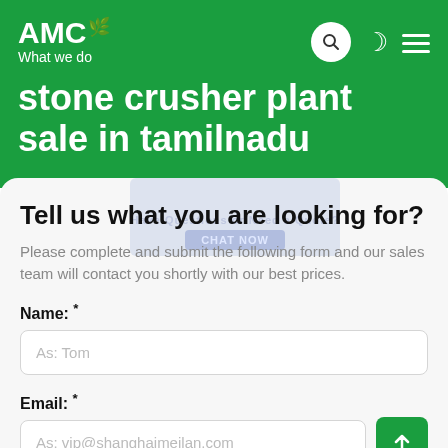AMC — What we do
stone crusher plant sale in tamilnadu
Tell us what you are looking for?
Please complete and submit the following form and our sales team will contact you shortly with our best prices.
Name: *
As: Tom
Email: *
As: vip@shanghaimeilan.com
Phone: *